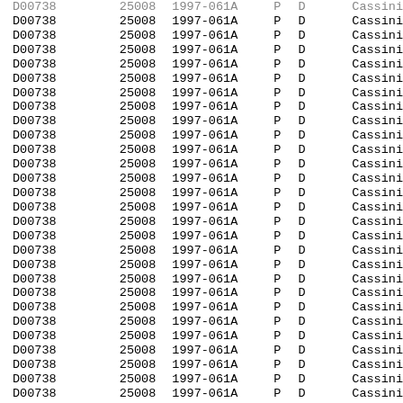| D00738 | 25008 | 1997-061A | P | D | Cassini |
| D00738 | 25008 | 1997-061A | P | D | Cassini |
| D00738 | 25008 | 1997-061A | P | D | Cassini |
| D00738 | 25008 | 1997-061A | P | D | Cassini |
| D00738 | 25008 | 1997-061A | P | D | Cassini |
| D00738 | 25008 | 1997-061A | P | D | Cassini |
| D00738 | 25008 | 1997-061A | P | D | Cassini |
| D00738 | 25008 | 1997-061A | P | D | Cassini |
| D00738 | 25008 | 1997-061A | P | D | Cassini |
| D00738 | 25008 | 1997-061A | P | D | Cassini |
| D00738 | 25008 | 1997-061A | P | D | Cassini |
| D00738 | 25008 | 1997-061A | P | D | Cassini |
| D00738 | 25008 | 1997-061A | P | D | Cassini |
| D00738 | 25008 | 1997-061A | P | D | Cassini |
| D00738 | 25008 | 1997-061A | P | D | Cassini |
| D00738 | 25008 | 1997-061A | P | D | Cassini |
| D00738 | 25008 | 1997-061A | P | D | Cassini |
| D00738 | 25008 | 1997-061A | P | D | Cassini |
| D00738 | 25008 | 1997-061A | P | D | Cassini |
| D00738 | 25008 | 1997-061A | P | D | Cassini |
| D00738 | 25008 | 1997-061A | P | D | Cassini |
| D00738 | 25008 | 1997-061A | P | D | Cassini |
| D00738 | 25008 | 1997-061A | P | D | Cassini |
| D00738 | 25008 | 1997-061A | P | D | Cassini |
| D00738 | 25008 | 1997-061A | P | D | Cassini |
| D00738 | 25008 | 1997-061A | P | D | Cassini |
| D00738 | 25008 | 1997-061A | P | D | Cassini |
| D00738 | 25008 | 1997-061A | P | D | Cassini |
| D00738 | 25008 | 1997-061A | P | D | Cassini |
| D00738 | 25008 | 1997-061A | P | D | Cassini |